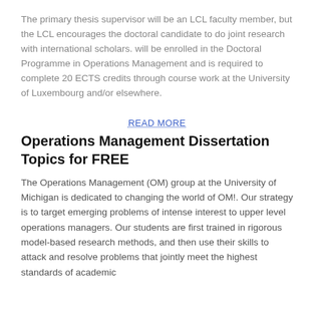The primary thesis supervisor will be an LCL faculty member, but the LCL encourages the doctoral candidate to do joint research with international scholars. will be enrolled in the Doctoral Programme in Operations Management and is required to complete 20 ECTS credits through course work at the University of Luxembourg and/or elsewhere.
READ MORE
Operations Management Dissertation Topics for FREE
The Operations Management (OM) group at the University of Michigan is dedicated to changing the world of OM!. Our strategy is to target emerging problems of intense interest to upper level operations managers. Our students are first trained in rigorous model-based research methods, and then use their skills to attack and resolve problems that jointly meet the highest standards of academic